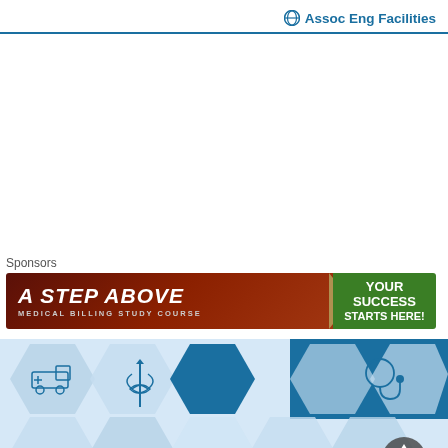Assoc Eng Facilities
Sponsors
[Figure (illustration): Advertisement banner: 'A STEP ABOVE - MEDICAL BILLING STUDY COURSE - YOUR SUCCESS STARTS HERE!']
[Figure (illustration): Medical services hexagonal icon grid with ambulance, medical tools, stethoscope icons on blue and light blue background. Scroll-to-top button visible.]